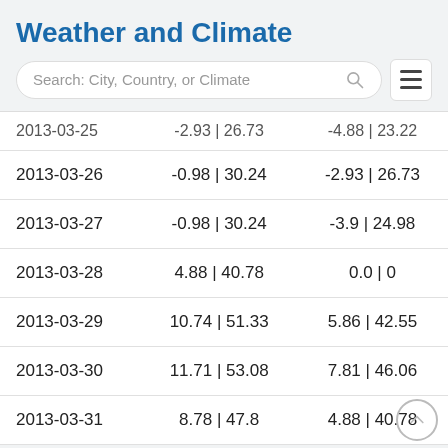Weather and Climate
| Date | Col2 | Col3 |
| --- | --- | --- |
| 2013-03-25 | -2.93 | 26.73 | -4.88 | 23.22 |
| 2013-03-26 | -0.98 | 30.24 | -2.93 | 26.73 |
| 2013-03-27 | -0.98 | 30.24 | -3.9 | 24.98 |
| 2013-03-28 | 4.88 | 40.78 | 0.0 | 0 |
| 2013-03-29 | 10.74 | 51.33 | 5.86 | 42.55 |
| 2013-03-30 | 11.71 | 53.08 | 7.81 | 46.06 |
| 2013-03-31 | 8.78 | 47.8 | 4.88 | 40.78 |